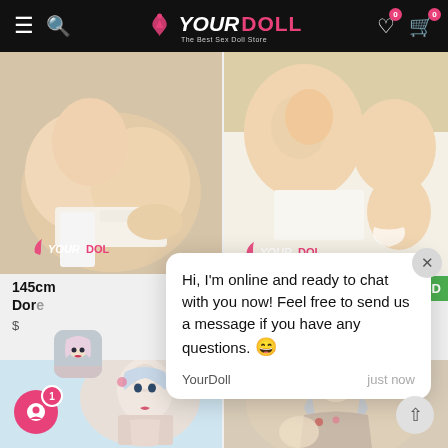YOURDOLL – The Best Sex Doll Store navigation header
[Figure (photo): Product photo left – sex doll torso in white lingerie on bed with YourDoll watermark]
[Figure (photo): Product photo right – sex doll torso, white garment, YourDoll watermark, close X button]
145cm ... Dore...
Hi, I'm online and ready to chat with you now! Feel free to send us a message if you have any questions. 😄
YourDoll    just now
[Figure (photo): Bottom left product photo – anime-style doll with blue/silver hair]
[Figure (photo): Bottom right product photo – realistic doll with silver hair, floral clothing]